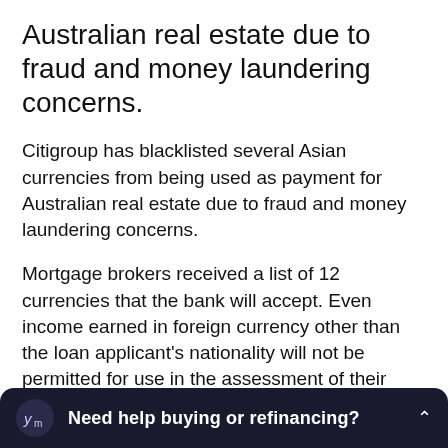Australian real estate due to fraud and money laundering concerns.
Citigroup has blacklisted several Asian currencies from being used as payment for Australian real estate due to fraud and money laundering concerns.
Mortgage brokers received a list of 12 currencies that the bank will accept. Even income earned in foreign currency other than the loan applicant's nationality will not be permitted for use in the assessment of their ability to pay. This excludes Australian citizens and permanent residents.
"We have excluded certain currencies to ensure we don't attract any increases in unwanted loan ap[plications]... loan applications [have] increased after competing